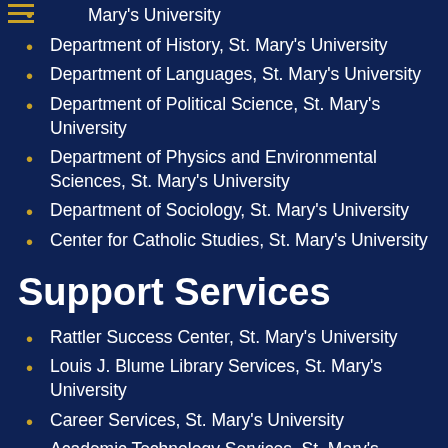Mary's University
Department of History, St. Mary's University
Department of Languages, St. Mary's University
Department of Political Science, St. Mary's University
Department of Physics and Environmental Sciences, St. Mary's University
Department of Sociology, St. Mary's University
Center for Catholic Studies, St. Mary's University
Support Services
Rattler Success Center, St. Mary's University
Louis J. Blume Library Services, St. Mary's University
Career Services, St. Mary's University
Academic Technology Services, St. Mary's University
About